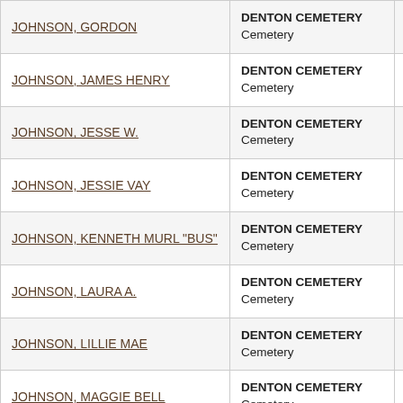| Name | Cemetery | County |
| --- | --- | --- |
| JOHNSON, GORDON | DENTON CEMETERY
Cemetery | Stephens |
| JOHNSON, JAMES HENRY | DENTON CEMETERY
Cemetery | Stephens |
| JOHNSON, JESSE W. | DENTON CEMETERY
Cemetery | Stephens |
| JOHNSON, JESSIE VAY | DENTON CEMETERY
Cemetery | Stephens |
| JOHNSON, KENNETH MURL "BUS" | DENTON CEMETERY
Cemetery | Stephens |
| JOHNSON, LAURA A. | DENTON CEMETERY
Cemetery | Stephens |
| JOHNSON, LILLIE MAE | DENTON CEMETERY
Cemetery | Stephens |
| JOHNSON, MAGGIE BELL | DENTON CEMETERY
Cemetery | Stephens |
| JOHNSON, NORMA LEE | DENTON CEMETERY
Cemetery | Stephens |